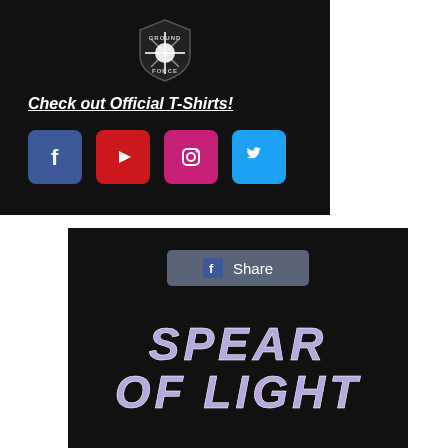[Figure (logo): Ground Force logo - shield shape with glowing star/cross in center, text 'GROUND FORCE' around it, on black background]
Check out Official T-Shirts!
[Figure (infographic): Four social media icons in a row: Facebook (blue), YouTube (red), Instagram (pink/magenta), Twitter (light blue)]
[Figure (screenshot): Facebook Share button with f logo on dark background]
[Figure (logo): SPEAR OF LIGHT text logo in white and purple/lavender gradient, bold stylized font, on dark background]